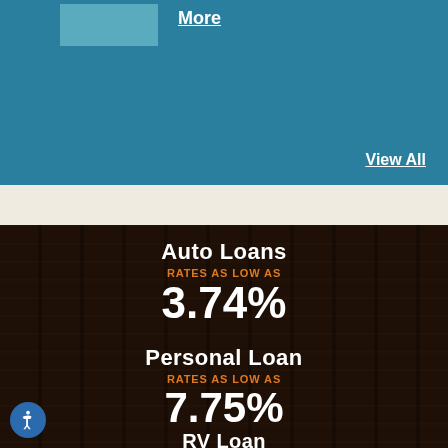More
View All
Auto Loans
RATES AS LOW AS
3.74%
Personal Loan
RATES AS LOW AS
7.75%
RV Loan